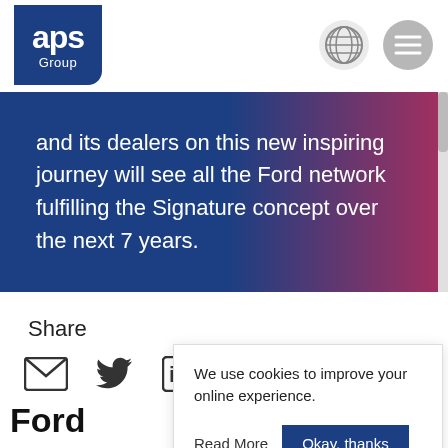[Figure (logo): APS Group logo - blue rectangle with rounded corner, white text 'aps' large and 'Group' below]
[Figure (other): Globe icon (world/website) and hamburger menu icon in gray circles]
and its dealers on this new inspiring journey will see all the Ford network fulfilling the Signature concept over the next 7 years.
Share
[Figure (infographic): Social share icons: email envelope, Twitter bird, LinkedIn 'in']
We use cookies to improve your online experience.
Read More   Okay, thanks
Ford